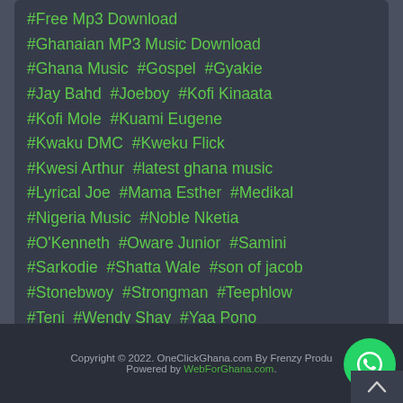#Free Mp3 Download #Ghanaian MP3 Music Download #Ghana Music #Gospel #Gyakie #Jay Bahd #Joeboy #Kofi Kinaata #Kofi Mole #Kuami Eugene #Kwaku DMC #Kweku Flick #Kwesi Arthur #latest ghana music #Lyrical Joe #Mama Esther #Medikal #Nigeria Music #Noble Nketia #O'Kenneth #Oware Junior #Samini #Sarkodie #Shatta Wale #son of jacob #Stonebwoy #Strongman #Teephlow #Teni #Wendy Shay #Yaa Pono #Yaw Tog #YPee
Copyright © 2022. OneClickGhana.com By Frenzy Produ… Powered by WebForGhana.com.